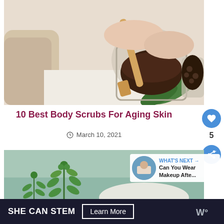[Figure (photo): Hands holding a wooden spatula stirring dark coffee scrub in a glass jar, with a rolled towel, green leaves, and coffee beans visible.]
10 Best Body Scrubs For Aging Skin
March 10, 2021
[Figure (photo): Green herb sprigs on a light blue surface with white powder/salt in the background. What's Next overlay: Can You Wear Makeup Afte...]
SHE CAN STEM  Learn More